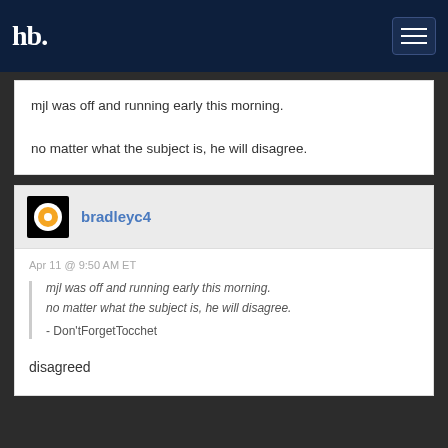hb
mjl was off and running early this morning.

no matter what the subject is, he will disagree.
bradleyc4
Apr 11 @ 9:50 AM ET
mjl was off and running early this morning.

no matter what the subject is, he will disagree.
- Don'tForgetTocchet
disagreed